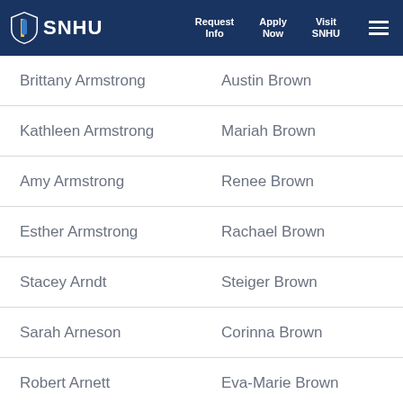SNHU | Request Info | Apply Now | Visit SNHU
Brittany Armstrong | Austin Brown
Kathleen Armstrong | Mariah Brown
Amy Armstrong | Renee Brown
Esther Armstrong | Rachael Brown
Stacey Arndt | Steiger Brown
Sarah Arneson | Corinna Brown
Robert Arnett | Eva-Marie Brown